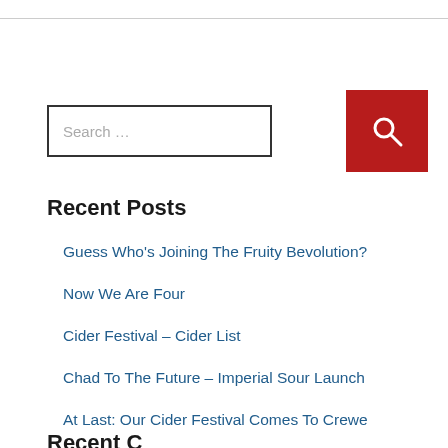Search …
Recent Posts
Guess Who's Joining The Fruity Bevolution?
Now We Are Four
Cider Festival – Cider List
Chad To The Future – Imperial Sour Launch
At Last: Our Cider Festival Comes To Crewe
Recent Comments